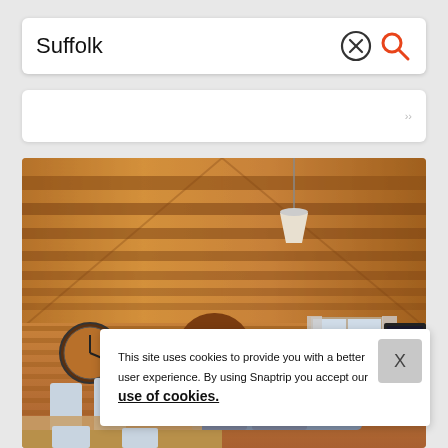Suffolk
[Figure (screenshot): Search bar with 'Suffolk' text, an X circle icon and an orange search magnifier icon on white rounded rectangle background]
[Figure (photo): Interior of a log cabin with wooden ceiling beams, pendant lamp, round wall clock, circular mirror, sofa, dining chairs, curtained windows, and a TV on the right]
This site uses cookies to provide you with a better user experience. By using Snaptrip you accept our use of cookies.